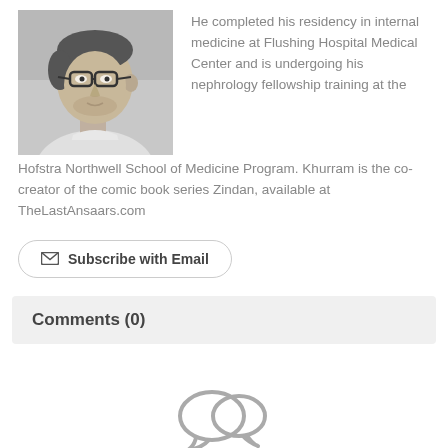[Figure (photo): Black and white photo of a man wearing glasses, looking to the side, in a casual shirt]
He completed his residency in internal medicine at Flushing Hospital Medical Center and is undergoing his nephrology fellowship training at the Hofstra Northwell School of Medicine Program. Khurram is the co-creator of the comic book series Zindan, available at TheLastAnsaars.com
Subscribe with Email
Comments (0)
[Figure (illustration): Chat/comment bubble icon outline at the bottom center of the page]